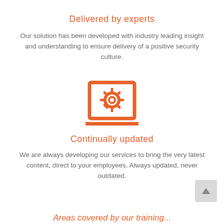Delivered by experts
Our solution has been developed with industry leading insight and understanding to ensure delivery of a positive security culture.
[Figure (illustration): Orange outline icon of a laptop/monitor with a gear/cog inside it, centered on the page.]
Continually updated
We are always developing our services to bring the very latest content, direct to your employees. Always updated, never outdated.
Areas covered by our training...